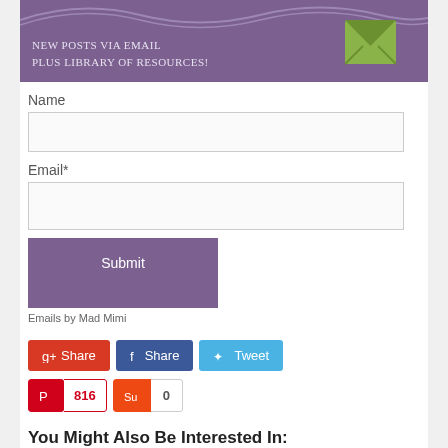[Figure (illustration): Purple/mauve banner with wavy lines at top, text 'NEW POSTS VIA EMAIL PLUS LIBRARY OF RESOURCES!' and a green envelope icon on the right]
Name
Email*
Submit
Emails by Mad Mimi
[Figure (other): Social sharing buttons row 1: Google+ Share, Facebook Share, Twitter Tweet]
[Figure (other): Social sharing buttons row 2: Pinterest 816, StumbleUpon 0]
You Might Also Be Interested In: